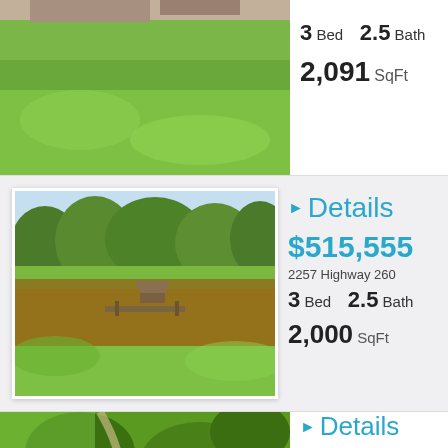[Figure (photo): Aerial/ground photo of green lawn area, partially cropped at top]
3 Bed   2.5 Bath
2,091 SqFt
[Figure (photo): Photo of a pond/lake with dock and gazebo, green trees in background]
▶ Details
$515,555
2257 Highway 260
3 Bed   2.5 Bath
2,000 SqFt
[Figure (photo): Aerial photo of rural property with buildings and trees]
▶ Details